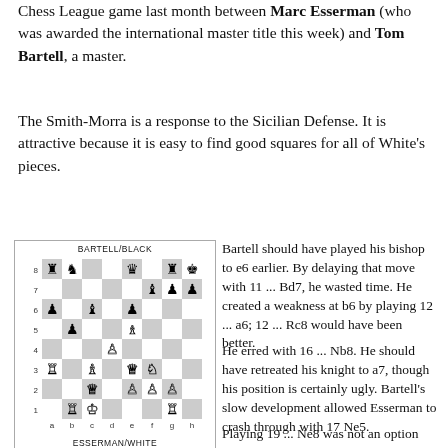Chess League game last month between Marc Esserman (who was awarded the international master title this week) and Tom Bartell, a master.
The Smith-Morra is a response to the Sicilian Defense. It is attractive because it is easy to find good squares for all of White's pieces.
[Figure (other): Chess board diagram showing position after 16 ... Nb8 in a Smith-Morra Gambit game between Esserman (White) and Bartell (Black). Labels BARTELL/BLACK at top and ESSERMAN/WHITE at bottom.]
Position after 16 ... Nb8
| White Ess'man | Black Bartell | White Ess'man | Black Bartell |
| --- | --- | --- | --- |
| 1 e4 | c5 | 15 Nd5 | Bd5 |
| 2 d4 | cd4 | 16 ed5 | Nb8 |
| 3 c3 | dc3 | 17 Nc6 | dc5 |
| 4 Nc3 | Nc6 | 18 d6 | Bd6 |
Bartell should have played his bishop to e6 earlier. By delaying that move with 11 ... Bd7, he wasted time. He created a weakness at b6 by playing 12 ... a6; 12 ... Rc8 would have been better.
He erred with 16 ... Nb8. He should have retreated his knight to a7, though his position is certainly ugly. Bartell's slow development allowed Esserman to crash through with 17 Ne5.
Playing 19 ... Ne8 was not an option because 20 Bd5 wins Black's rook.